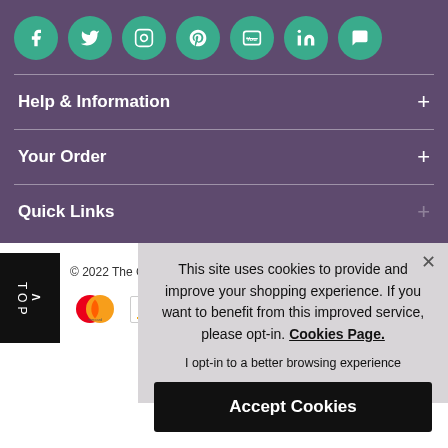[Figure (infographic): Social media icons row: Facebook, Twitter, Instagram, Pinterest, YouTube, LinkedIn, Chat — white icons on teal circular backgrounds, purple page background]
Help & Information +
Your Order +
Quick Links +
[Figure (infographic): Footer with TOP button, Mastercard and Visa payment icons, copyright notice, and address text]
This site uses cookies to provide and improve your shopping experience. If you want to benefit from this improved service, please opt-in. Cookies Page.
I opt-in to a better browsing experience
Accept Cookies